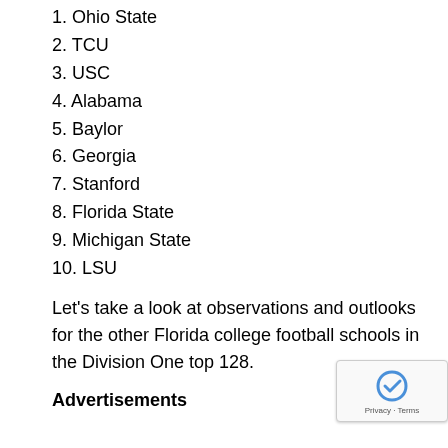1. Ohio State
2. TCU
3. USC
4. Alabama
5. Baylor
6. Georgia
7. Stanford
8. Florida State
9. Michigan State
10. LSU
Let's take a look at observations and outlooks for the other Florida college football schools in the Division One top 128.
Advertisements
Miami Hurricanes
Few coaches in America occupy a hotter seat than Al Golden, 28–22 entering his fifth season. The Hurricanes lost four stra... finish 6–7 This was UM's third losing season in the last 35 ye... recruited well through a lengthy NCAA investigation, but fans howl